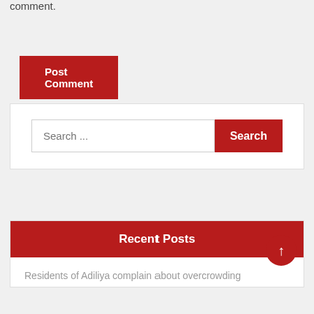comment.
Post Comment
[Figure (screenshot): Search widget with text input placeholder 'Search ...' and a red 'Search' button]
[Figure (screenshot): Recent Posts widget with red header bar labeled 'Recent Posts' and a red circular scroll-to-top arrow button]
Residents of Adiliya complain about overcrowding